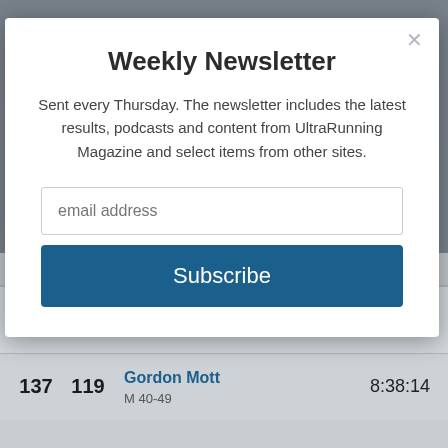[Figure (screenshot): Weekly Newsletter subscription modal popup overlay on a website showing race results. Modal contains title, description text, email input field, and Subscribe button. Behind the modal are partially visible race result rows.]
Weekly Newsletter
Sent every Thursday. The newsletter includes the latest results, podcasts and content from UltraRunning Magazine and select items from other sites.
email address
Subscribe
| Place | Gen Place | Name / Category | Time |
| --- | --- | --- | --- |
|  |  | F 30-39 |  |
| 136 | 118 | Joe Holmberg
M 50-59 | 8:37:36 |
| 137 | 119 | Gordon Mott
M 40-49 | 8:38:14 |